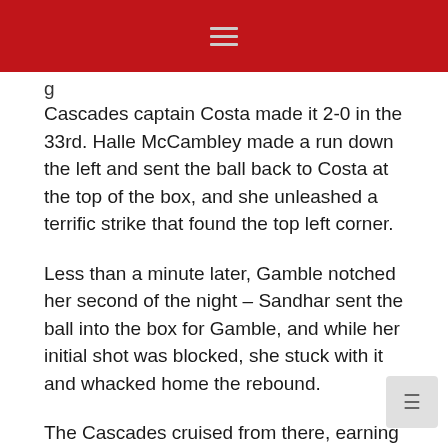Cascades captain Costa made it 2-0 in the 33rd. Halle McCambley made a run down the left and sent the ball back to Costa at the top of the box, and she unleashed a terrific strike that found the top left corner.
Less than a minute later, Gamble notched her second of the night – Sandhar sent the ball into the box for Gamble, and while her initial shot was blocked, she stuck with it and whacked home the rebound.
The Cascades cruised from there, earning the lion's share of possession and generating a few more dangerous chances that did not come to